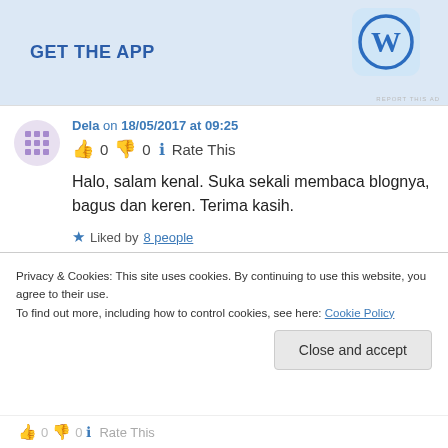[Figure (screenshot): WordPress app advertisement banner with 'GET THE APP' text and WordPress logo]
Dela on 18/05/2017 at 09:25
👍 0 👎 0 ℹ Rate This
Halo, salam kenal. Suka sekali membaca blognya, bagus dan keren. Terima kasih.
★ Liked by 8 people
Privacy & Cookies: This site uses cookies. By continuing to use this website, you agree to their use.
To find out more, including how to control cookies, see here: Cookie Policy
Close and accept